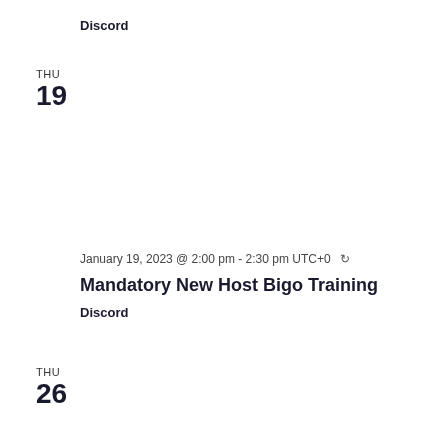Discord
THU
19
January 19, 2023 @ 2:00 pm - 2:30 pm UTC+0 ↻
Mandatory New Host Bigo Training
Discord
THU
26